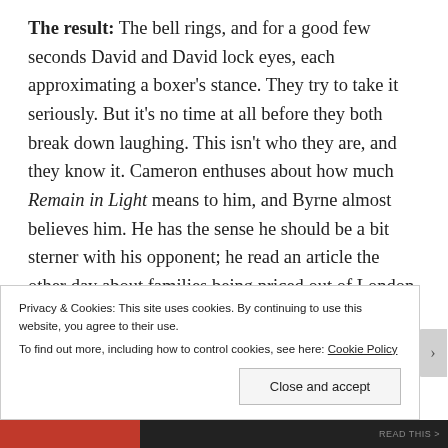The result: The bell rings, and for a good few seconds David and David lock eyes, each approximating a boxer's stance. They try to take it seriously. But it's no time at all before they both break down laughing. This isn't who they are, and they know it. Cameron enthuses about how much Remain in Light means to him, and Byrne almost believes him. He has the sense he should be a bit sterner with his opponent; he read an article the other day about families being priced out of London. In the end, he settles for suggesting how the city's cycling lanes might be made safer and more appealing for commuters. At the end of their chat
Privacy & Cookies: This site uses cookies. By continuing to use this website, you agree to their use.
To find out more, including how to control cookies, see here: Cookie Policy
Close and accept